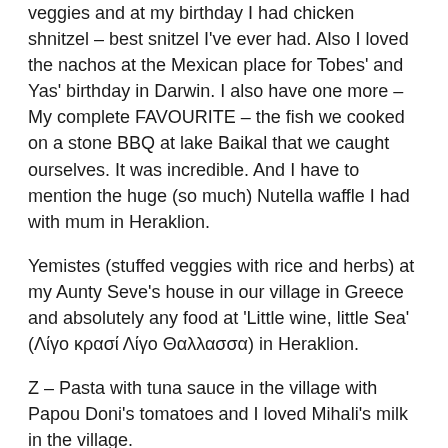veggies and at my birthday I had chicken shnitzel – best snitzel I've ever had. Also I loved the nachos at the Mexican place for Tobes' and Yas' birthday in Darwin. I also have one more – My complete FAVOURITE – the fish we cooked on a stone BBQ at lake Baikal that we caught ourselves. It was incredible. And I have to mention the huge (so much) Nutella waffle I had with mum in Heraklion.
Yemistes (stuffed veggies with rice and herbs) at my Aunty Seve's house in our village in Greece and absolutely any food at 'Little wine, little Sea' (Λίγο κρασί Λίγο Θαλλασσα) in Heraklion.
Z – Pasta with tuna sauce in the village with Papou Doni's tomatoes and I loved Mihali's milk in the village.
My giagia's soup with rice and meatballs.